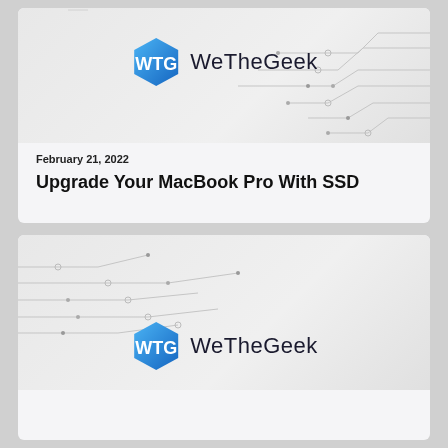[Figure (logo): WeTheGeek logo with hexagonal icon and brand name, on circuit board pattern background (top card)]
February 21, 2022
Upgrade Your MacBook Pro With SSD
[Figure (logo): WeTheGeek logo with hexagonal icon and brand name, on circuit board pattern background (bottom card)]